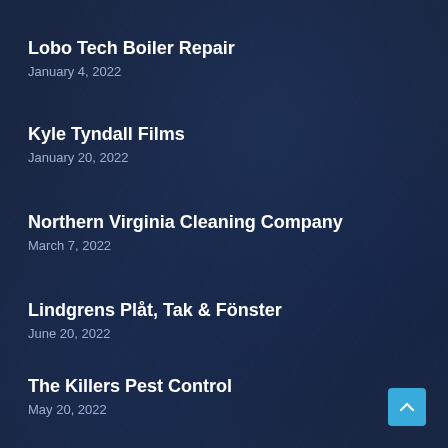Lobo Tech Boiler Repair
January 4, 2022
Kyle Tyndall Films
January 20, 2022
Northern Virginia Cleaning Company
March 7, 2022
Lindgrens Plåt, Tak & Fönster
June 20, 2022
The Killers Pest Control
May 20, 2022